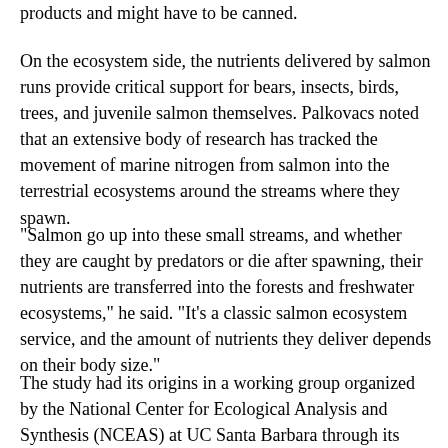products and might have to be canned.
On the ecosystem side, the nutrients delivered by salmon runs provide critical support for bears, insects, birds, trees, and juvenile salmon themselves. Palkovacs noted that an extensive body of research has tracked the movement of marine nitrogen from salmon into the terrestrial ecosystems around the streams where they spawn.
"Salmon go up into these small streams, and whether they are caught by predators or die after spawning, their nutrients are transferred into the forests and freshwater ecosystems," he said. "It's a classic salmon ecosystem service, and the amount of nutrients they deliver depends on their body size."
The study had its origins in a working group organized by the National Center for Ecological Analysis and Synthesis (NCEAS) at UC Santa Barbara through its State of Alaska's Salmon and People project. With funding from the Gordon